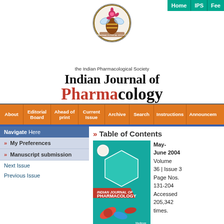[Figure (logo): Indian Pharmacological Society circular logo with floral/bee design]
An official Publication of the Indian Pharmacological Society
Indian Journal of Pharmacology
Home IPS Fee
About | Editorial Board | Ahead of print | Current Issue | Archive | Search | Instructions | Announcements
» My Preferences
» Manuscript submission
Next Issue
Previous Issue
» Table of Contents
[Figure (photo): Cover of Indian Journal of Pharmacology, May-June 2004, Volume 36 Issue 3]
May-June 2004 Volume 36 | Issue 3 Page Nos. 131-204 Accessed 205,342 times.
PDF access policy Full text